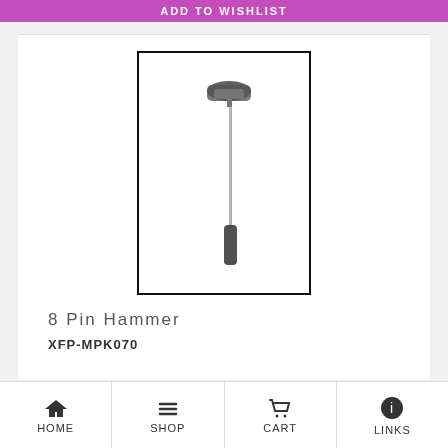ADD TO WISHLIST
[Figure (photo): Product photo of an 8 Pin Hammer with long thin metallic handle and a hammer head at the top, shown in a black-bordered white rectangle]
8 Pin Hammer
XFP-MPK070
HOME  SHOP  CART  LINKS